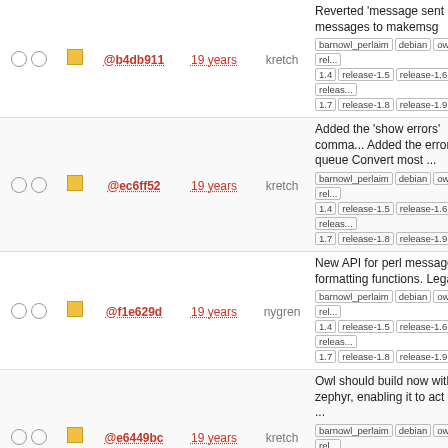|  |  | Hash | Age | Author | Description |
| --- | --- | --- | --- | --- | --- |
| ○○ | □ | @b4db911 | 19 years | kretch | Reverted 'message sent messages to makemsg [barnowl_perlaim][debian][owl][rel...][1.4][release-1.5][release-1.6][releas...][1.7][release-1.8][release-1.9] |
| ○○ | □ | @ec6ff52 | 19 years | kretch | Added the 'show errors' comma... Added the error queue Convert most ... [barnowl_perlaim][debian][owl][rel...][1.4][release-1.5][release-1.6][releas...][1.7][release-1.8][release-1.9] |
| ○○ | □ | @f1e629d | 19 years | nygren | New API for perl message formatting functions. Legacy ... [barnowl_perlaim][debian][owl][rel...][1.4][release-1.5][release-1.6][releas...][1.7][release-1.8][release-1.9] |
| ○○ | □ | @e6449bc | 19 years | kretch | Owl should build now without zephyr, enabling it to act as a ... [barnowl_perlaim][debian][owl][rel...][1.4][release-1.5][release-1.6][releas...][1.7][release-1.8][release-1.9] |
| ○○ | □ | @03955f3 | 19 years | kretch | Fixed a few glitches introduced the new build [barnowl_perlaim][debian][owl][rel...][1.4][release-1.5][release-1.6][releas...][1.7][release-1.8][release-1.9] |
| ○○ | □ | @09489b89 | 19 years | kretch | First pass at making owl build without zephyr [barnowl_perlaim][debian][owl][rel...][1.4][release-1.5][release-1.6][releas...][1.7][release-1.8][release-1.9] |
| ○○ | □ | @b2a91b6 | 19 years | kretch | Use new function to delete zeph... subs from file [barnowl_perlaim][debian][owl]... |